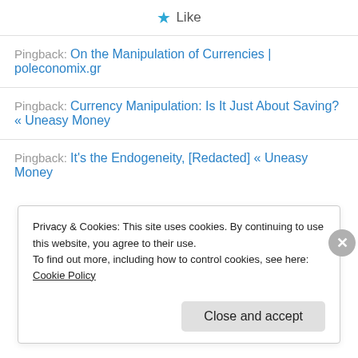★ Like
Pingback: On the Manipulation of Currencies | poleconomix.gr
Pingback: Currency Manipulation: Is It Just About Saving? « Uneasy Money
Pingback: It's the Endogeneity, [Redacted] « Uneasy Money
Privacy & Cookies: This site uses cookies. By continuing to use this website, you agree to their use.
To find out more, including how to control cookies, see here: Cookie Policy